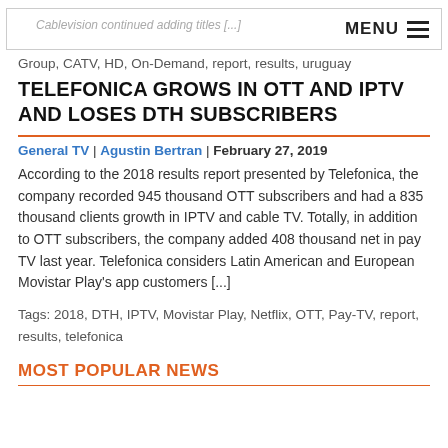Cablevision continued adding titles [...]  MENU
Group, CATV, HD, On-Demand, report, results, uruguay
TELEFONICA GROWS IN OTT AND IPTV AND LOSES DTH SUBSCRIBERS
General TV | Agustin Bertran | February 27, 2019
According to the 2018 results report presented by Telefonica, the company recorded 945 thousand OTT subscribers and had a 835 thousand clients growth in IPTV and cable TV. Totally, in addition to OTT subscribers, the company added 408 thousand net in pay TV last year. Telefonica considers Latin American and European Movistar Play's app customers [...]
Tags: 2018, DTH, IPTV, Movistar Play, Netflix, OTT, Pay-TV, report, results, telefonica
MOST POPULAR NEWS